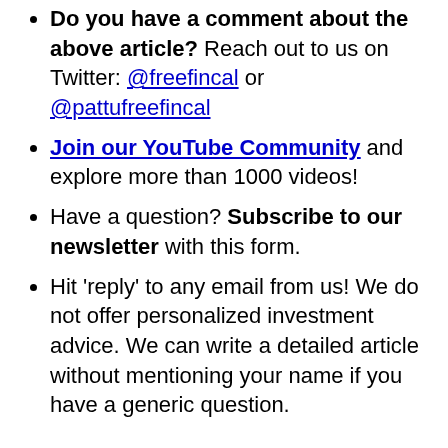Do you have a comment about the above article? Reach out to us on Twitter: @freefincal or @pattufreefincal
Join our YouTube Community and explore more than 1000 videos!
Have a question? Subscribe to our newsletter with this form.
Hit 'reply' to any email from us! We do not offer personalized investment advice. We can write a detailed article without mentioning your name if you have a generic question.